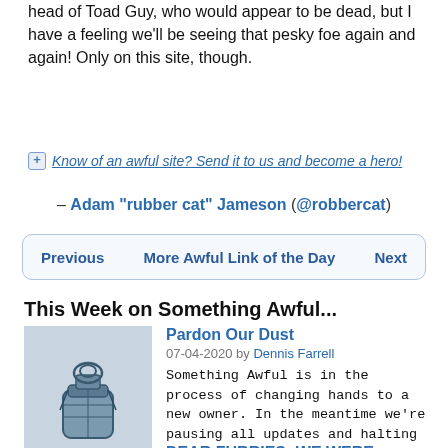head of Toad Guy, who would appear to be dead, but I have a feeling we'll be seeing that pesky foe again and again! Only on this site, though.
Know of an awful site? Send it to us and become a hero!
– Adam "rubber cat" Jameson (@robbercat)
Previous   More Awful Link of the Day   Next
This Week on Something Awful...
[Figure (illustration): Grenade/canteen illustration for Pardon Our Dust article]
Pardon Our Dust
07-04-2020 by Dennis Farrell
Something Awful is in the process of changing hands to a new owner. In the meantime we're pausing all updates and halting production on our propaganda comic partnership with Northrop Grumman.
[Figure (illustration): Grenade/canteen illustration for DEAR FURRIES article]
DEAR FURRIES: WE WERE WRONG
06-30-2020 by Phiz Kalifa
Dear god this was an embarrassment to not only this site, but to all mankind
Let's improve landmarks